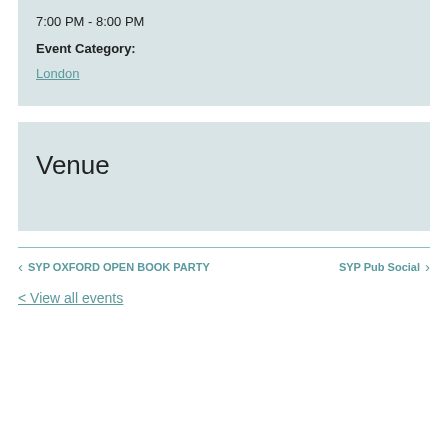7:00 PM - 8:00 PM
Event Category:
London
Venue
< SYP OXFORD OPEN BOOK PARTY
SYP Pub Social >
< View all events